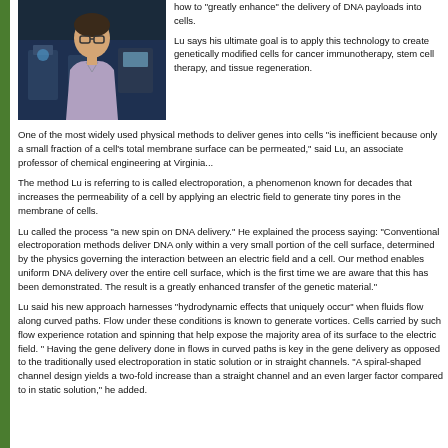[Figure (photo): A man wearing glasses and a light purple shirt, seated in a laboratory setting with equipment visible in the background.]
how to "greatly enhance" the delivery of DNA payloads into cells.

Lu says his ultimate goal is to apply this technology to create genetically modified cells for cancer immunotherapy, stem cell therapy, and tissue regeneration.
One of the most widely used physical methods to deliver genes into cells "is inefficient because only a small fraction of a cell's total membrane surface can be permeated," said Lu, an associate professor of chemical engineering at Virginia...
The method Lu is referring to is called electroporation, a phenomenon known for decades that increases the permeability of a cell by applying an electric field to generate tiny pores in the membrane of cells.
Lu called the process "a new spin on DNA delivery." He explained the process saying, "Conventional electroporation methods deliver DNA only within a very small portion of the cell surface, determined by the physics governing the interaction between an electric field and a cell. Our method enables uniform DNA delivery over the entire cell surface, which is the first time we are aware that this has been demonstrated. The result is a greatly enhanced transfer of the genetic material."
Lu said his new approach harnesses "hydrodynamic effects that uniquely occur" when fluids flow along curved paths. Flow under these conditions is known to generate vortices. Cells carried by such flow experience rotation and spinning that help expose the majority area of its surface to the electric field. " Having the gene delivery done in flows in curved paths is key in the gene delivery as opposed to the traditionally used electroporation in static solution or in straight channels. "A spiral-shaped channel design yields a two-fold increase than a straight channel and an even larger factor compared to in static solution," he added.